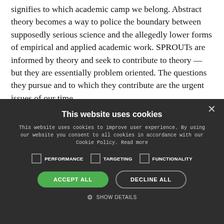signifies to which academic camp we belong. Abstract theory becomes a way to police the boundary between supposedly serious science and the allegedly lower forms of empirical and applied academic work. SPROUTs are informed by theory and seek to contribute to theory — but they are essentially problem oriented. The questions they pursue and to which they contribute are the urgent issues of our time.
This website uses cookies
This website uses cookies to improve user experience. By using our website you consent to all cookies in accordance with our Cookie Policy. Read more
PERFORMANCE  TARGETING  FUNCTIONALITY
ACCEPT ALL   DECLINE ALL
SHOW DETAILS